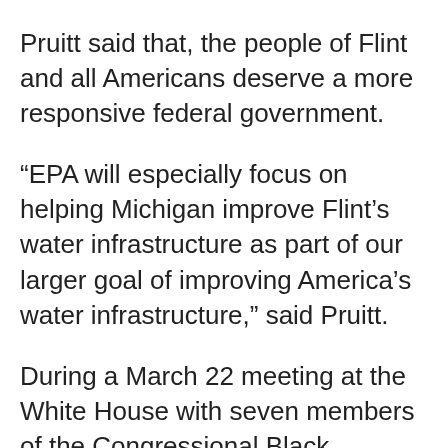Pruitt said that, the people of Flint and all Americans deserve a more responsive federal government. “EPA will especially focus on helping Michigan improve Flint’s water infrastructure as part of our larger goal of improving America’s water infrastructure,” said Pruitt. During a March 22 meeting at the White House with seven members of the Congressional Black Caucus, Rep. Brenda Lawrence (D-Mich.), said that she and President Trump spoke about assistance for Flint. “He said he thought it was awful and criminal... I was surprised he understood how that happened,” said Lawrence, who represents parts of Detroit. The congresswoman added that the president also wanted to know who